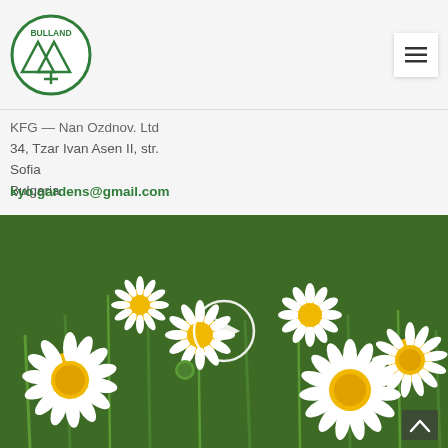[Figure (logo): Bulland company logo - circular green logo with mountain/tree design and BULLAND text]
KFG — Nan Ozdnov. Ltd
34, Tzar Ivan Asen II, str.
Sofia
Bulgaria
kyo.gardens@gmail.com
[Figure (photo): Field of white daisy flowers with yellow centers, green stems and leaves. A circular play button overlay is visible in the center of the image.]